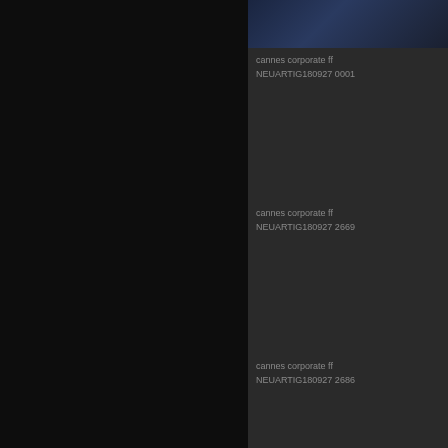[Figure (photo): Partial view of a dark-toned image, top of right panel, cropped]
cannes corporate ff
NEUARTIG180927 0001
[Figure (photo): Empty dark gray image area for second item]
cannes corporate ff
NEUARTIG180927 2669
[Figure (photo): Empty dark gray image area for third item]
cannes corporate ff
NEUARTIG180927 2686